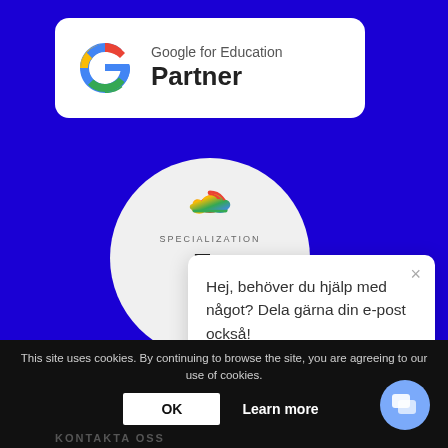[Figure (logo): Google for Education Partner badge with Google G logo]
[Figure (logo): Google Cloud Specialization circle badge with cloud icon, SPECIALIZATION label, Ec... title, G... subtitle]
Hej, behöver du hjälp med något? Dela gärna din e-post också!
This site uses cookies. By continuing to browse the site, you are agreeing to our use of cookies.
OK
Learn more
KONTAKTA OSS